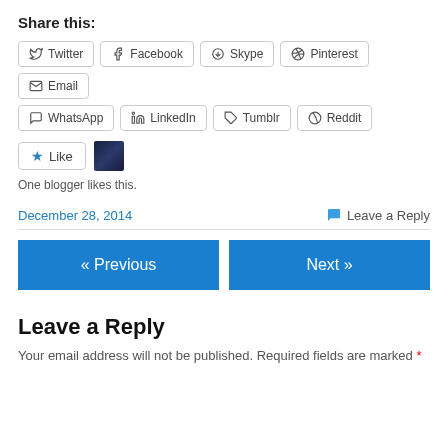Share this:
Twitter
Facebook
Skype
Pinterest
Email
WhatsApp
LinkedIn
Tumblr
Reddit
One blogger likes this.
December 28, 2014   Leave a Reply
« Previous
Next »
Leave a Reply
Your email address will not be published. Required fields are marked *